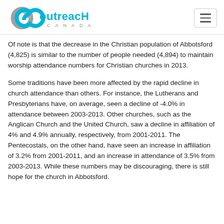Outreach Canada
Of note is that the decrease in the Christian population of Abbotsford (4,825) is similar to the number of people needed (4,894) to maintain worship attendance numbers for Christian churches in 2013.
Some traditions have been more affected by the rapid decline in church attendance than others. For instance, the Lutherans and Presbyterians have, on average, seen a decline of -4.0% in attendance between 2003-2013. Other churches, such as the Anglican Church and the United Church, saw a decline in affiliation of 4% and 4.9% annually, respectively, from 2001-2011. The Pentecostals, on the other hand, have seen an increase in affiliation of 3.2% from 2001-2011, and an increase in attendance of 3.5% from 2003-2013. While these numbers may be discouraging, there is still hope for the church in Abbotsford.